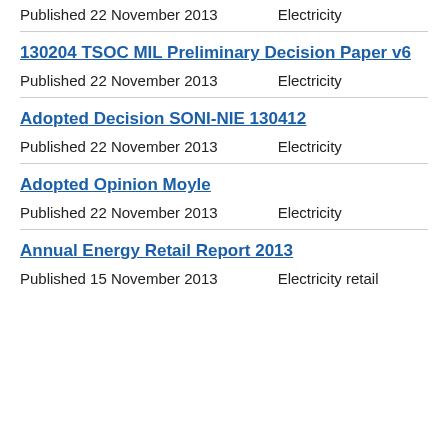Published 22 November 2013    Electricity
130204 TSOC MIL Preliminary Decision Paper v6
Published 22 November 2013    Electricity
Adopted Decision SONI-NIE 130412
Published 22 November 2013    Electricity
Adopted Opinion Moyle
Published 22 November 2013    Electricity
Annual Energy Retail Report 2013
Published 15 November 2013    Electricity retail